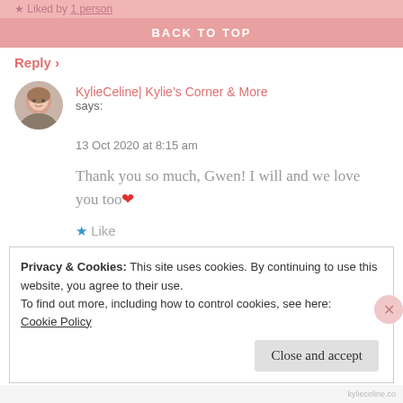Liked by 1 person
BACK TO TOP
Reply ›
KylieCeline| Kylie's Corner & More says:
13 Oct 2020 at 8:15 am
Thank you so much, Gwen! I will and we love you too❤
★ Like
Privacy & Cookies: This site uses cookies. By continuing to use this website, you agree to their use.
To find out more, including how to control cookies, see here:
Cookie Policy
Close and accept